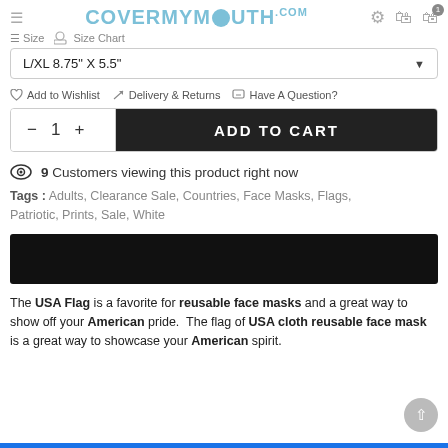CoverMyMouth.com
Size  Size Chart
L/XL 8.75" X 5.5"
Add to Wishlist   Delivery & Returns   Have A Question?
— 1 +   ADD TO CART
9 Customers viewing this product right now
Tags : Adults, Clearance Sale, Countries, Face Masks, Flags, Patriotic, Prints, Sale, White
[Figure (other): Black banner image (redacted)]
The USA Flag is a favorite for reusable face masks and a great way to show off your American pride. The flag of USA cloth reusable face mask is a great way to showcase your American spirit.